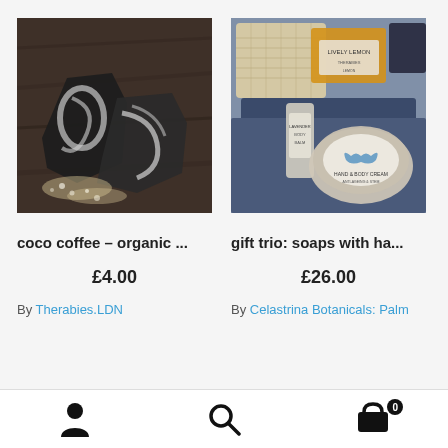[Figure (photo): Dark swirled artisan soap bars with dried flowers on a wooden surface]
coco coffee – organic ...
£4.00
By Therabies.LDN
[Figure (photo): Gift set with lemon soap, hand and body cream tin, and other skincare items in a blue box with knit pouch]
gift trio: soaps with ha...
£26.00
By Celastrina Botanicals: Palm